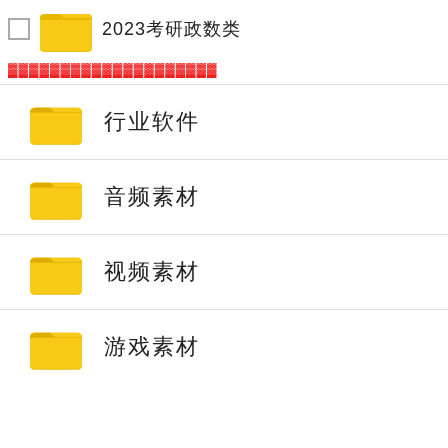2023考研政数类
▓▓▓▓▓▓▓▓▓▓▓▓▓▓▓▓▓▓▓▓
行业软件
音频素材
视频素材
游戏素材